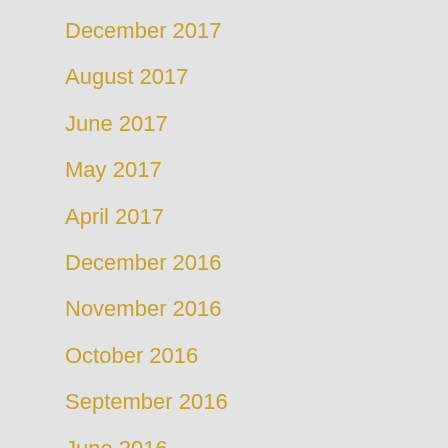December 2017
August 2017
June 2017
May 2017
April 2017
December 2016
November 2016
October 2016
September 2016
June 2016
April 2016
March 2016
February 2016
January 2016
December 2015